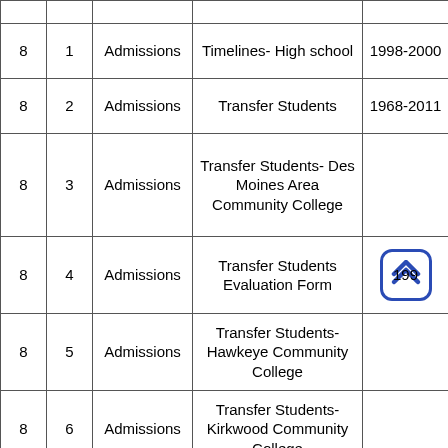|  |  |  |  |  |
| --- | --- | --- | --- | --- |
| 8 | 1 | Admissions | Timelines- High school | 1998-2000 |
| 8 | 2 | Admissions | Transfer Students | 1968-2011 |
| 8 | 3 | Admissions | Transfer Students- Des Moines Area Community College |  |
| 8 | 4 | Admissions | Transfer Students Evaluation Form | 199[icon] |
| 8 | 5 | Admissions | Transfer Students- Hawkeye Community College |  |
| 8 | 6 | Admissions | Transfer Students- Kirkwood Community College |  |
| 8 | 7 | Admissions | Transfer Students Reference Form |  |
| 8 | 8 | Admissions | Transfer Students Wartburg College/Northern Iowa Area | 1997-2012 |